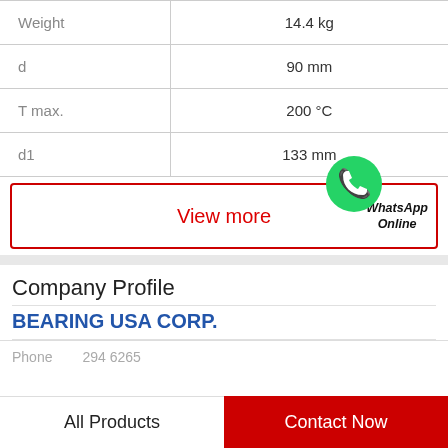| Property | Value |
| --- | --- |
| Weight | 14.4 kg |
| d | 90 mm |
| T max. | 200 °C |
| d1 | 133 mm |
View more
[Figure (logo): WhatsApp green phone icon with WhatsApp Online label]
Company Profile
BEARING USA CORP.
Phone  294 6265
All Products
Contact Now